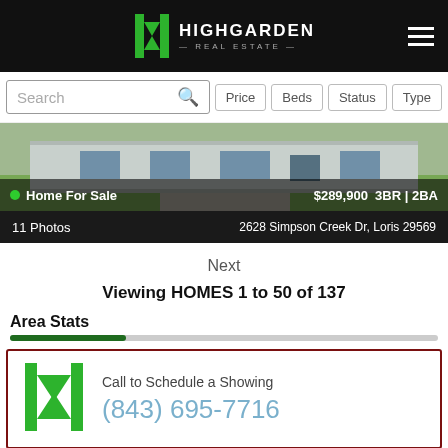HIGHGARDEN REAL ESTATE
Search | Price | Beds | Status | Type
[Figure (photo): Photo of a single-story home with gray siding, front porch, and green lawn]
Home For Sale  $289,900  3BR | 2BA
11 Photos  2628 Simpson Creek Dr, Loris 29569
Next
Viewing HOMES 1 to 50 of 137
Area Stats
Call to Schedule a Showing
(843) 695-7716